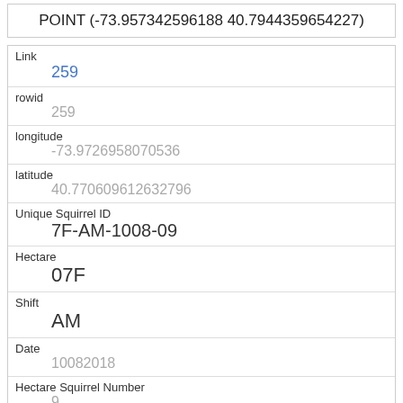POINT (-73.957342596188 40.7944359654227)
| Field | Value |
| --- | --- |
| Link | 259 |
| rowid | 259 |
| longitude | -73.9726958070536 |
| latitude | 40.770609612632796 |
| Unique Squirrel ID | 7F-AM-1008-09 |
| Hectare | 07F |
| Shift | AM |
| Date | 10082018 |
| Hectare Squirrel Number | 9 |
| Age |  |